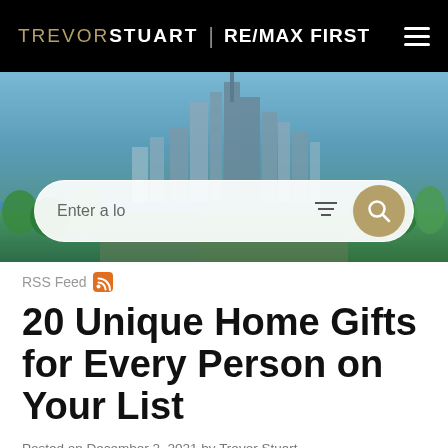TREVORSTUART | RE/MAX FIRST
[Figure (photo): Aerial cityscape of Calgary with river and skyline, with an overlaid search bar reading 'Enter a lo' with filter and search icons]
RSS Feed
20 Unique Home Gifts for Every Person on Your List
Posted on December 2, 2021 by Trevor Stuart